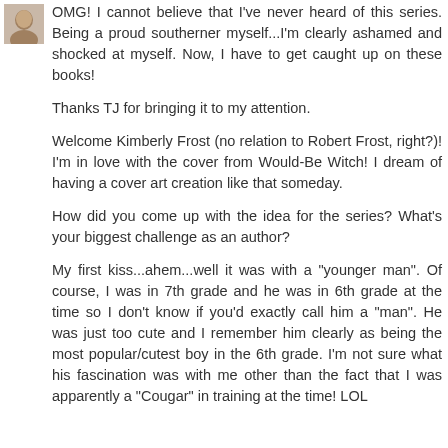[Figure (photo): Small avatar/profile photo of a person in the top-left corner]
OMG! I cannot believe that I've never heard of this series. Being a proud southerner myself...I'm clearly ashamed and shocked at myself. Now, I have to get caught up on these books!
Thanks TJ for bringing it to my attention.
Welcome Kimberly Frost (no relation to Robert Frost, right?)! I'm in love with the cover from Would-Be Witch! I dream of having a cover art creation like that someday.
How did you come up with the idea for the series? What's your biggest challenge as an author?
My first kiss...ahem...well it was with a "younger man". Of course, I was in 7th grade and he was in 6th grade at the time so I don't know if you'd exactly call him a "man". He was just too cute and I remember him clearly as being the most popular/cutest boy in the 6th grade. I'm not sure what his fascination was with me other than the fact that I was apparently a "Cougar" in training at the time! LOL